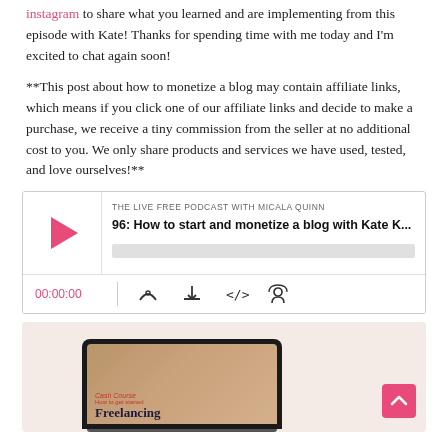instagram to share what you learned and are implementing from this episode with Kate! Thanks for spending time with me today and I'm excited to chat again soon!
**This post about how to monetize a blog may contain affiliate links, which means if you click one of our affiliate links and decide to make a purchase, we receive a tiny commission from the seller at no additional cost to you. We only share products and services we have used, tested, and love ourselves!**
[Figure (screenshot): Podcast player widget for 'THE LIVE FREE PODCAST WITH MICALA QUINN' episode 96: How to start and monetize a blog with Kate K... showing play button, progress bar, timestamp 00:00:00, and media controls]
[Figure (screenshot): Pink-background promotional section showing a laptop displaying 'Cash Course - How to get started - Freelancing' with a woman in pink on screen, and a scroll-to-top pink button in the bottom right corner]